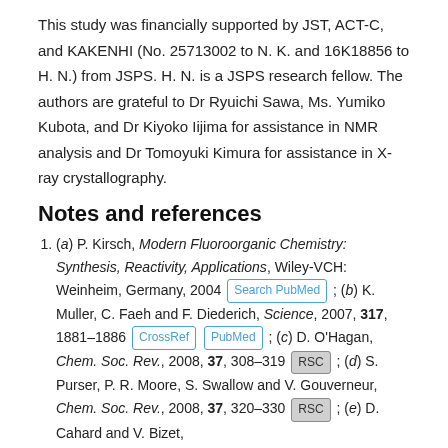This study was financially supported by JST, ACT-C, and KAKENHI (No. 25713002 to N. K. and 16K18856 to H. N.) from JSPS. H. N. is a JSPS research fellow. The authors are grateful to Dr Ryuichi Sawa, Ms. Yumiko Kubota, and Dr Kiyoko Iijima for assistance in NMR analysis and Dr Tomoyuki Kimura for assistance in X-ray crystallography.
Notes and references
(a) P. Kirsch, Modern Fluoroorganic Chemistry: Synthesis, Reactivity, Applications, Wiley-VCH: Weinheim, Germany, 2004 [Search PubMed] ; (b) K. Muller, C. Faeh and F. Diederich, Science, 2007, 317, 1881–1886 [CrossRef] [PubMed] ; (c) D. O'Hagan, Chem. Soc. Rev., 2008, 37, 308–319 [RSC] ; (d) S. Purser, P. R. Moore, S. Swallow and V. Gouverneur, Chem. Soc. Rev., 2008, 37, 320–330 [RSC] ; (e) D. Cahard and V. Bizet,